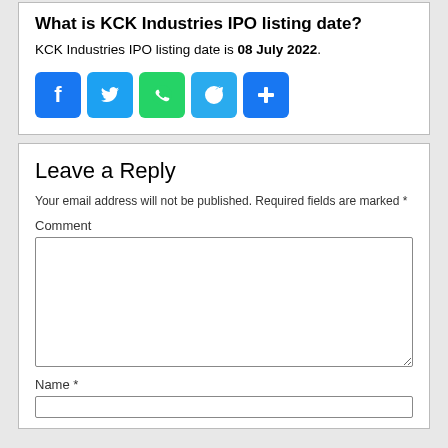What is KCK Industries IPO listing date?
KCK Industries IPO listing date is 08 July 2022.
[Figure (other): Social media share buttons: Facebook, Twitter, WhatsApp, Telegram, Share (plus icon)]
Leave a Reply
Your email address will not be published. Required fields are marked *
Comment
Name *